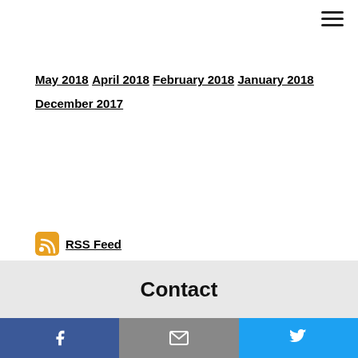May 2018
April 2018
February 2018
January 2018
December 2017
Subscribe to receive Riveted Blog posts
email address
Subscribe
RSS Feed
Contact